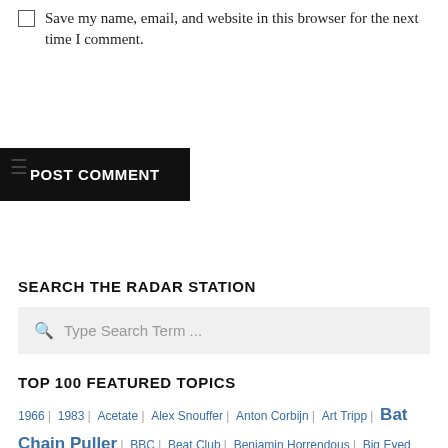Save my name, email, and website in this browser for the next time I comment.
POST COMMENT
SEARCH THE RADAR STATION
Type Search Term ...
TOP 100 FEATURED TOPICS
1966 | 1983 | Acetate | Alex Snouffer | Anton Corbijn | Art Tripp | Bat Chain Puller | BBC | Beat Club | Benjamin Horrendous | Big Eyed Beans From Venus | Bill Harkleroad | Bluejeans and Moonbeams | Bob Krasnow | Bongo Fury | Byron Coley | Cal Schenkel | Captain Beefheart The Biography | China Pig | Clear